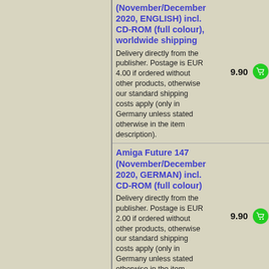(November/December 2020, ENGLISH) incl. CD-ROM (full colour), worldwide shipping
Delivery directly from the publisher. Postage is EUR 4.00 if ordered without other products, otherwise our standard shipping costs apply (only in Germany unless stated otherwise in the item description).
Price: 9.90
Amiga Future 147 (November/December 2020, GERMAN) incl. CD-ROM (full colour)
Delivery directly from the publisher. Postage is EUR 2.00 if ordered without other products, otherwise our standard shipping costs apply (only in Germany unless stated otherwise in the item description).
Price: 9.90
Amiga Future 148 (January/February ...